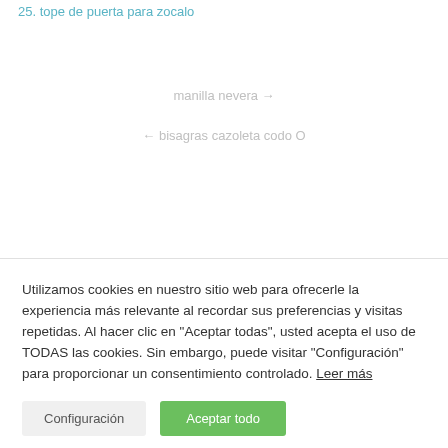25. tope de puerta para zocalo
manilla nevera →
← bisagras cazoleta codo O
Utilizamos cookies en nuestro sitio web para ofrecerle la experiencia más relevante al recordar sus preferencias y visitas repetidas. Al hacer clic en "Aceptar todas", usted acepta el uso de TODAS las cookies. Sin embargo, puede visitar "Configuración" para proporcionar un consentimiento controlado. Leer más
Configuración
Aceptar todo